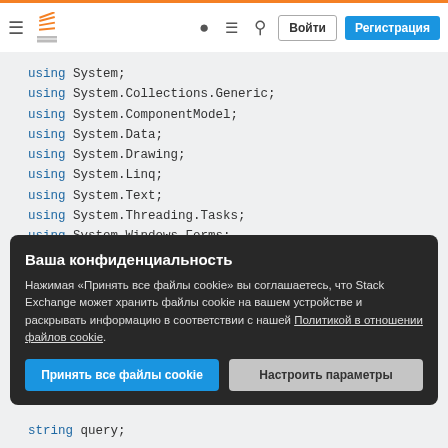Stack Overflow navigation bar with logo, help, chat, search, login and register buttons
using System;
using System.Collections.Generic;
using System.ComponentModel;
using System.Data;
using System.Drawing;
using System.Linq;
using System.Text;
using System.Threading.Tasks;
using System.Windows.Forms;
using MySql.Data.MySqlClient;

namespace Biling_DSLAM
Ваша конфиденциальность
Нажимая «Принять все файлы cookie» вы соглашаетесь, что Stack Exchange может хранить файлы cookie на вашем устройстве и раскрывать информацию в соответствии с нашей Политикой в отношении файлов cookie.
string query;